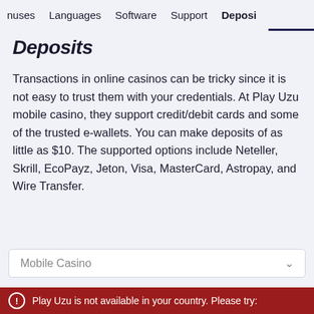nuses   Languages   Software   Support   Deposi
Deposits
Transactions in online casinos can be tricky since it is not easy to trust them with your credentials. At Play Uzu mobile casino, they support credit/debit cards and some of the trusted e-wallets. You can make deposits of as little as $10. The supported options include Neteller, Skrill, EcoPayz, Jeton, Visa, MasterCard, Astropay, and Wire Transfer.
Mobile Casino
PROS
Play Uzu is not available in your country. Please try: